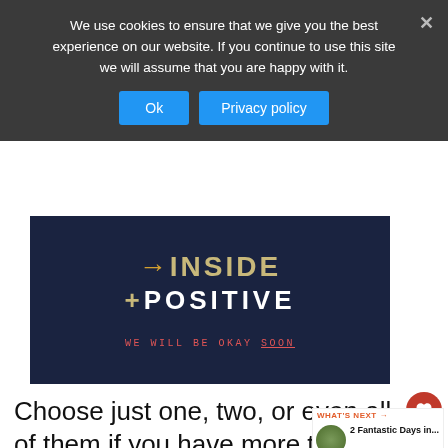We use cookies to ensure that we give you the best experience on our website. If you continue to use this site we will assume that you are happy with it.
[Figure (illustration): Dark navy background hero image showing stylized text '+INSIDE' and '+POSITIVE' with subtitle 'WE WILL BE OKAY SOON']
Choose just one, two, or even all of them if you have more time.
[Figure (infographic): WHAT'S NEXT widget with circular photo and text '2 Fantastic Days in...']
[Figure (infographic): Advertisement banner: Big Brothers Big Sisters logo, 'MENTOR A KID IN YOUR COMMUNITY.' with Learn How button]